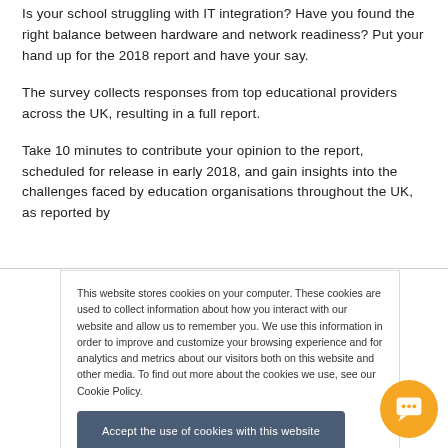Is your school struggling with IT integration? Have you found the right balance between hardware and network readiness? Put your hand up for the 2018 report and have your say.
The survey collects responses from top educational providers across the UK, resulting in a full report.
Take 10 minutes to contribute your opinion to the report, scheduled for release in early 2018, and gain insights into the challenges faced by education organisations throughout the UK, as reported by
This website stores cookies on your computer. These cookies are used to collect information about how you interact with our website and allow us to remember you. We use this information in order to improve and customize your browsing experience and for analytics and metrics about our visitors both on this website and other media. To find out more about the cookies we use, see our Cookie Policy.
Accept the use of cookies with this website